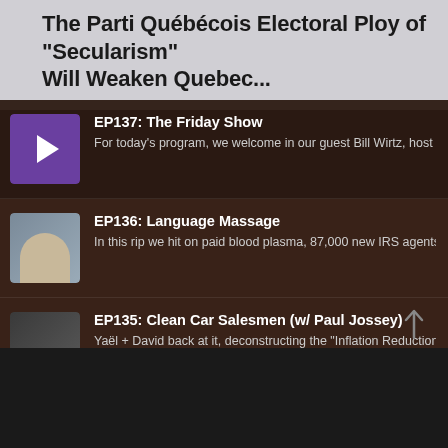The Parti Québécois Electoral Ploy of “Secularism” Will Weaken Quebec...
EP137: The Friday Show — For today's program, we welcome in our guest Bill Wirtz, host of the...
EP136: Language Massage — In this rip we hit on paid blood plasma, 87,000 new IRS agents, the T...
EP135: Clean Car Salesmen (w/ Paul Jossey) — Yaël + David back at it, deconstructing the "Inflation Reduction Act"...
EP134: Welcome to Atlanta — Hey there, Yaël checking in from Atlanta! We go over some of the e...
EP133: 2024 (w/ Elizabeth Hicks)